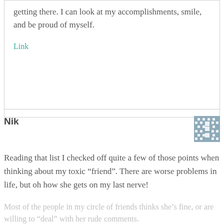getting there. I can look at my accomplishments, smile, and be proud of myself.
Link
Nik
[Figure (other): Avatar image: decorative pixel/pattern square avatar in muted blue-gray with diamond and square pattern]
Reading that list I checked off quite a few of those points when thinking about my toxic “friend”. There are worse problems in life, but oh how she gets on my last nerve!
Most of the people in my circle of friends thinks she’s fine, or are willing to “deal” with her rude comments.